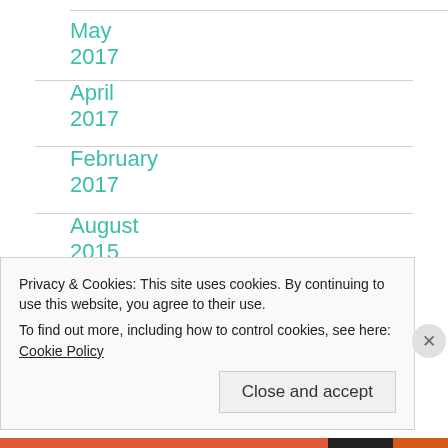May 2017
April 2017
February 2017
August 2015
July 2015
May 2015
Privacy & Cookies: This site uses cookies. By continuing to use this website, you agree to their use.
To find out more, including how to control cookies, see here: Cookie Policy
Close and accept